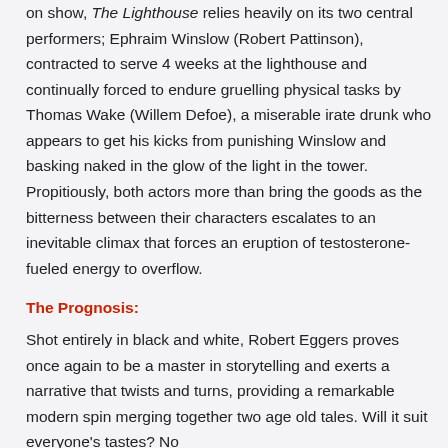on show, The Lighthouse relies heavily on its two central performers; Ephraim Winslow (Robert Pattinson), contracted to serve 4 weeks at the lighthouse and continually forced to endure gruelling physical tasks by Thomas Wake (Willem Defoe), a miserable irate drunk who appears to get his kicks from punishing Winslow and basking naked in the glow of the light in the tower. Propitiously, both actors more than bring the goods as the bitterness between their characters escalates to an inevitable climax that forces an eruption of testosterone-fueled energy to overflow.
The Prognosis:
Shot entirely in black and white, Robert Eggers proves once again to be a master in storytelling and exerts a narrative that twists and turns, providing a remarkable modern spin merging together two age old tales. Will it suit everyone's tastes? No